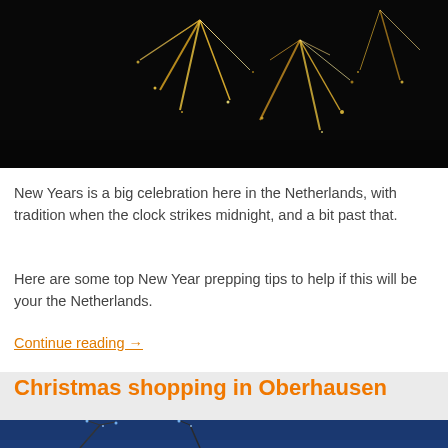[Figure (photo): Fireworks against a night sky, gold and white sparks on black background]
New Years is a big celebration here in the Netherlands, with tradition when the clock strikes midnight, and a bit past that.
Here are some top New Year prepping tips to help if this will be your the Netherlands.
Continue reading →
[Figure (photo): Christmas lights on bare trees against a blue evening sky]
Christmas shopping in Oberhausen